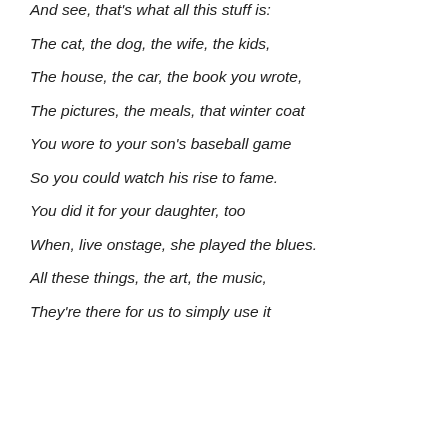And see, that's what all this stuff is:
The cat, the dog, the wife, the kids,
The house, the car, the book you wrote,
The pictures, the meals, that winter coat
You wore to your son's baseball game
So you could watch his rise to fame.
You did it for your daughter, too
When, live onstage, she played the blues.
All these things, the art, the music,
They're there for us to simply use it